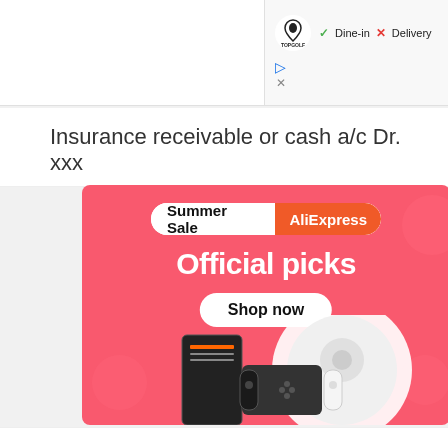[Figure (screenshot): Top bar with Topgolf logo, checkmark Dine-in, X Delivery labels, and ad play/close icons]
Insurance receivable or cash a/c Dr. xxx
[Figure (screenshot): AliExpress Summer Sale banner ad with Official picks heading, Shop now button, and product images including robot vacuum and gaming devices on pink background]
...